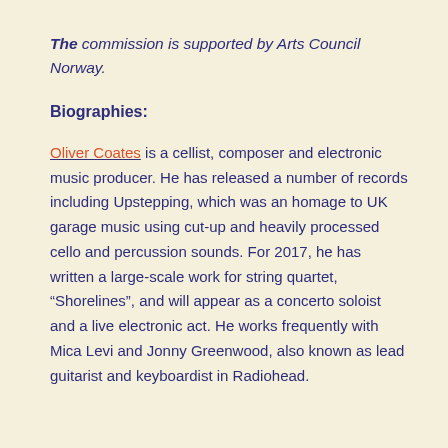The commission is supported by Arts Council Norway.
Biographies:
Oliver Coates is a cellist, composer and electronic music producer. He has released a number of records including Upstepping, which was an homage to UK garage music using cut-up and heavily processed cello and percussion sounds. For 2017, he has written a large-scale work for string quartet, “Shorelines”, and will appear as a concerto soloist and a live electronic act. He works frequently with Mica Levi and Jonny Greenwood, also known as lead guitarist and keyboardist in Radiohead.